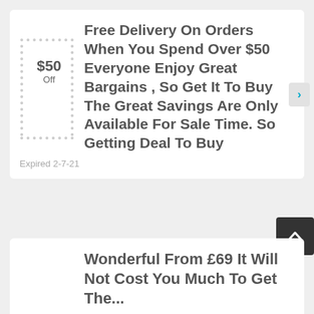Free Delivery On Orders When You Spend Over $50 Everyone Enjoy Great Bargains , So Get It To Buy The Great Savings Are Only Available For Sale Time. So Getting Deal To Buy
$50 Off
Expired 2-7-21
Wonderful From £69 It Will Not Cost You Much To Get The...